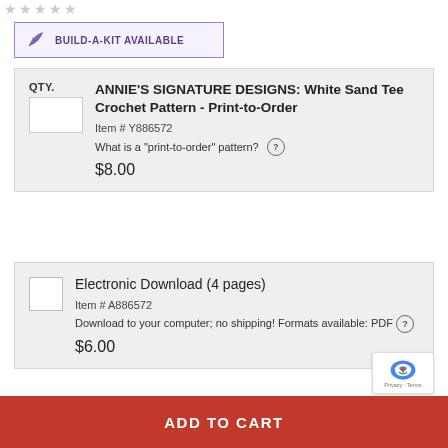[Figure (other): Star rating icons (empty/gray stars) at top of page]
BUILD-A-KIT AVAILABLE
QTY.
ANNIE'S SIGNATURE DESIGNS: White Sand Tee Crochet Pattern - Print-to-Order
Item # Y886572
What is a "print-to-order" pattern? ?
$8.00
Electronic Download (4 pages)
Item # A886572
Download to your computer; no shipping! Formats available: PDF ?
$6.00
ADD TO CART